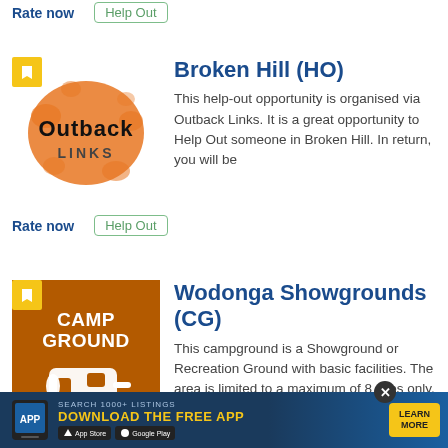Rate now
Help Out
[Figure (logo): Outback Links logo - orange splatter background with 'Outback Links' text]
Broken Hill (HO)
This help-out opportunity is organised via Outback Links. It is a great opportunity to Help Out someone in Broken Hill. In return, you will be
Rate now
Help Out
[Figure (illustration): Orange campground icon with caravan/trailer silhouette in white, labeled CAMP GROUND]
Wodonga Showgrounds (CG)
This campground is a Showground or Recreation Ground with basic facilities. The area is limited to a maximum of 8 sites only, recommended to call
Rate now
Campgrounds
[Figure (screenshot): App download advertisement banner: Search 1000+ listings, Download the Free App, App Store and Google Play buttons, Learn More button]